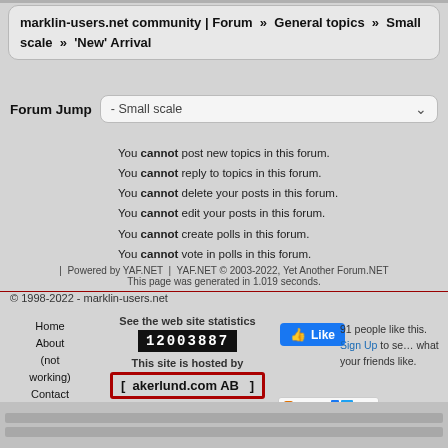marklin-users.net community | Forum » General topics » Small scale » 'New' Arrival
Forum Jump  - Small scale
You cannot post new topics in this forum.
You cannot reply to topics in this forum.
You cannot delete your posts in this forum.
You cannot edit your posts in this forum.
You cannot create polls in this forum.
You cannot vote in polls in this forum.
| Powered by YAF.NET | YAF.NET © 2003-2022, Yet Another Forum.NET
This page was generated in 1.019 seconds.
© 1998-2022 - marklin-users.net
Home
About (not working)
Contact (not working)
See the web site statistics
12003887
This site is hosted by
akerlund.com AB
91 people like this. Sign Up to see what your friends like.
[Figure (screenshot): Facebook Like button (blue)]
[Figure (screenshot): Share button with social media icons (Facebook, Twitter, email)]
[Figure (screenshot): Small Facebook icon square blue]
Browser scroll/progress bars at bottom